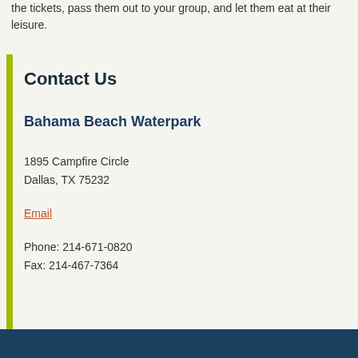the tickets, pass them out to your group, and let them eat at their leisure.
Contact Us
Bahama Beach Waterpark
1895 Campfire Circle
Dallas, TX 75232
Email
Phone: 214-671-0820
Fax: 214-467-7364